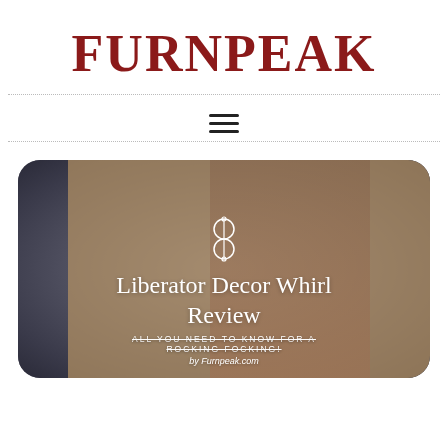FURNPEAK
[Figure (logo): Hamburger menu icon (three horizontal lines)]
[Figure (photo): Hero image with dark vignette background showing a woman, tan/brown overlay, decorative infinity-like symbol, article title 'Liberator Decor Whirl Review', subtitle 'ALL YOU NEED TO KNOW FOR A ROCKING FOCKING!', and byline 'by Furnpeak.com']